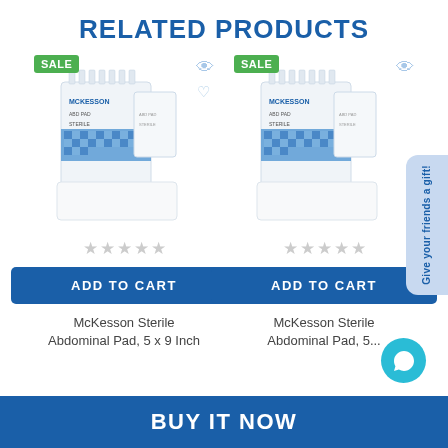RELATED PRODUCTS
[Figure (photo): McKesson Sterile Abdominal Pad product photo showing box and individual pads, left product]
[Figure (photo): McKesson Sterile Abdominal Pad product photo showing box and individual pads, right product]
McKesson Sterile Abdominal Pad, 5 x 9 Inch
McKesson Sterile Abdominal Pad, 5...
BUY IT NOW